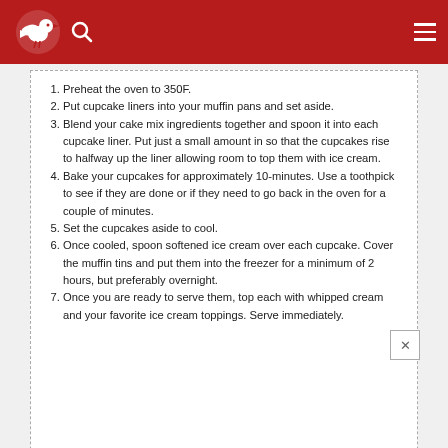Preheat the oven to 350F.
Put cupcake liners into your muffin pans and set aside.
Blend your cake mix ingredients together and spoon it into each cupcake liner. Put just a small amount in so that the cupcakes rise to halfway up the liner allowing room to top them with ice cream.
Bake your cupcakes for approximately 10-minutes. Use a toothpick to see if they are done or if they need to go back in the oven for a couple of minutes.
Set the cupcakes aside to cool.
Once cooled, spoon softened ice cream over each cupcake. Cover the muffin tins and put them into the freezer for a minimum of 2 hours, but preferably overnight.
Once you are ready to serve them, top each with whipped cream and your favorite ice cream toppings. Serve immediately.